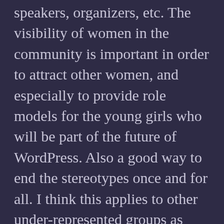speakers, organizers, etc. The visibility of women in the community is important in order to attract other women, and especially to provide role models for the young girls who will be part of the future of WordPress. Also a good way to end the stereotypes once and for all. I think this applies to other under-represented groups as well.
I am a tech conference junkie and no stranger to being the only woman, or